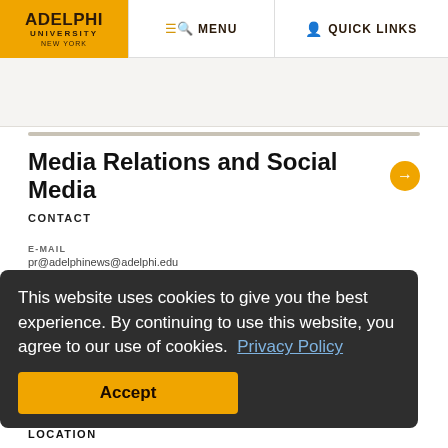ADELPHI UNIVERSITY NEW YORK | MENU | QUICK LINKS
Media Relations and Social Media →
CONTACT
E-MAIL
pr@adelphinews@adelphi.edu
MORE INFO
Website
This website uses cookies to give you the best experience. By continuing to use this website, you agree to our use of cookies. Privacy Policy
Accept
LOCATION